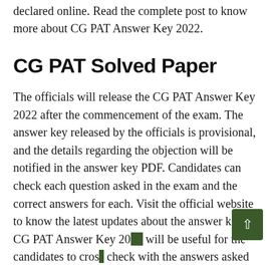declared online. Read the complete post to know more about CG PAT Answer Key 2022.
CG PAT Solved Paper
The officials will release the CG PAT Answer Key 2022 after the commencement of the exam. The answer key released by the officials is provisional, and the details regarding the objection will be notified in the answer key PDF. Candidates can check each question asked in the exam and the correct answers for each. Visit the official website to know the latest updates about the answer key. CG PAT Answer Key 2022 will be useful for the candidates to cross check with the answers asked in the exam.